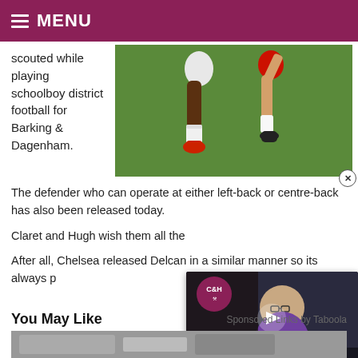MENU
scouted while playing schoolboy district football for Barking & Dagenham.
[Figure (photo): Two football players' legs on a green pitch, one in white kit with red boots, one in red kit, during a match.]
The defender who can operate at either left-back or centre-back has also been released today.
Claret and Hugh wish them all the
After all, Chelsea released Delcan in a similar manner so its always p
[Figure (screenshot): Embedded video player overlay showing a man with glasses in a purple shirt, with text '3 MASSIVE POINTS' in teal/blue, and a C&H logo with play button.]
You May Like
Sponsored Links by Taboola
[Figure (photo): Partial image at bottom of page, appears to be a car/automotive image.]